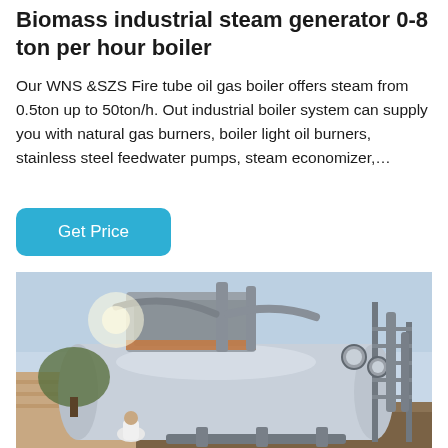Biomass industrial steam generator 0-8 ton per hour boiler
Our WNS &SZS Fire tube oil gas boiler offers steam from 0.5ton up to 50ton/h. Out industrial boiler system can supply you with natural gas burners, boiler light oil burners, stainless steel feedwater pumps, steam economizer,…
Get Price
[Figure (photo): Outdoor photograph of a large industrial horizontal fire-tube boiler with pipes, gauges, ladders and auxiliary equipment. A person in white clothing is visible near the base of the boiler. Background shows open sky and a brick wall.]